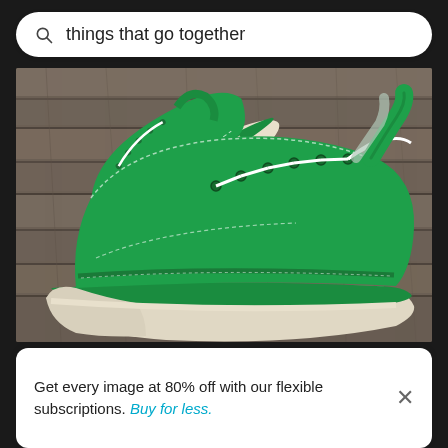things that go together
[Figure (photo): A pair of green canvas low-top sneakers with white laces and white rubber soles, placed on weathered wooden planks. The shoes resemble classic Converse-style sneakers in bright green with white stitching and stripe details.]
Get every image at 80% off with our flexible subscriptions. Buy for less.